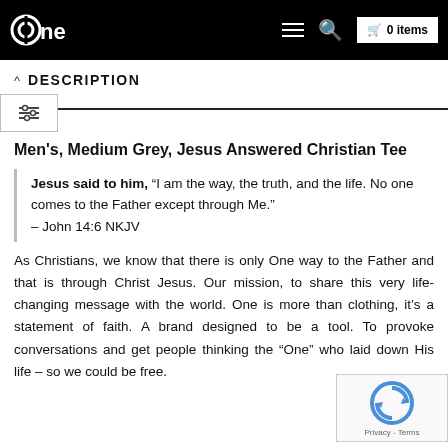one — 0 items
DESCRIPTION
Men's, Medium Grey, Jesus Answered Christian Tee
Jesus said to him, “I am the way, the truth, and the life. No one comes to the Father except through Me.” – John 14:6 NKJV
As Christians, we know that there is only One way to the Father and that is through Christ Jesus. Our mission, to share this very life-changing message with the world. One is more than clothing, it’s a statement of faith. A brand designed to be a tool. To provoke conversations and get people thinking the “One” who laid down His life – so we could be free.